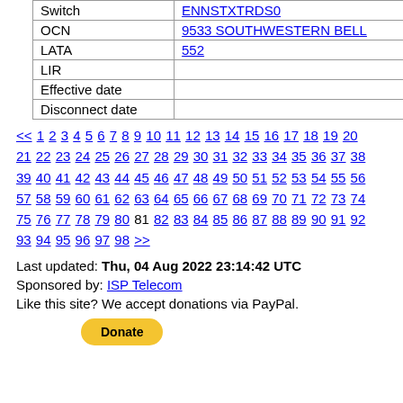| Field | Value |
| --- | --- |
| Switch | ENNSTXTRDS0 |
| OCN | 9533 SOUTHWESTERN BELL |
| LATA | 552 |
| LIR |  |
| Effective date |  |
| Disconnect date |  |
<< 1 2 3 4 5 6 7 8 9 10 11 12 13 14 15 16 17 18 19 20 21 22 23 24 25 26 27 28 29 30 31 32 33 34 35 36 37 38 39 40 41 42 43 44 45 46 47 48 49 50 51 52 53 54 55 56 57 58 59 60 61 62 63 64 65 66 67 68 69 70 71 72 73 74 75 76 77 78 79 80 81 82 83 84 85 86 87 88 89 90 91 92 93 94 95 96 97 98 >>
Last updated: Thu, 04 Aug 2022 23:14:42 UTC
Sponsored by: ISP Telecom
Like this site? We accept donations via PayPal.
[Figure (other): PayPal Donate button]